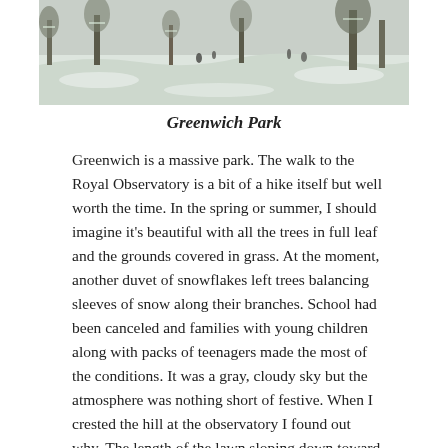[Figure (photo): Snowy winter scene in Greenwich Park showing trees, snow-covered ground, and people in the distance.]
Greenwich Park
Greenwich is a massive park. The walk to the Royal Observatory is a bit of a hike itself but well worth the time. In the spring or summer, I should imagine it's beautiful with all the trees in full leaf and the grounds covered in grass. At the moment, another duvet of snowflakes left trees balancing sleeves of snow along their branches. School had been canceled and families with young children along with packs of teenagers made the most of the conditions. It was a gray, cloudy sky but the atmosphere was nothing short of festive. When I crested the hill at the observatory I found out why. The length of the lawn sloping down toward the Queen's House (now a historic mansion and gallery) was littered with youth on makeshift sleds speeding down the hill with unbridled delight. Hoots and laughter warmed up the frosty late morning air, one girl, in particular, hollering